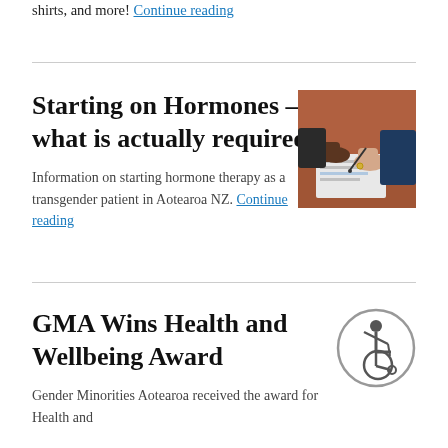shirts, and more! Continue reading
Starting on Hormones – what is actually required?
[Figure (photo): Two people at a desk, one pointing at a document, consultation scene]
Information on starting hormone therapy as a transgender patient in Aotearoa NZ. Continue reading
GMA Wins Health and Wellbeing Award
[Figure (illustration): Circular accessibility icon showing a person in a wheelchair]
Gender Minorities Aotearoa received the award for Health and